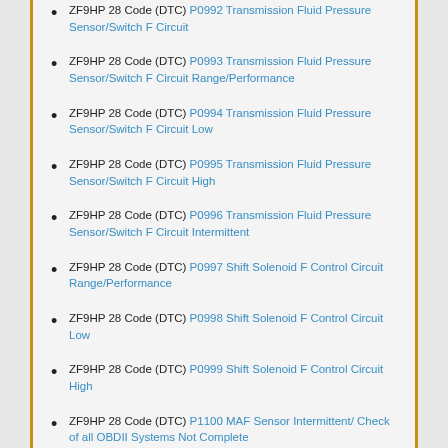ZF9HP 28 Code (DTC) P0992 Transmission Fluid Pressure Sensor/Switch F Circuit
ZF9HP 28 Code (DTC) P0993 Transmission Fluid Pressure Sensor/Switch F Circuit Range/Performance
ZF9HP 28 Code (DTC) P0994 Transmission Fluid Pressure Sensor/Switch F Circuit Low
ZF9HP 28 Code (DTC) P0995 Transmission Fluid Pressure Sensor/Switch F Circuit High
ZF9HP 28 Code (DTC) P0996 Transmission Fluid Pressure Sensor/Switch F Circuit Intermittent
ZF9HP 28 Code (DTC) P0997 Shift Solenoid F Control Circuit Range/Performance
ZF9HP 28 Code (DTC) P0998 Shift Solenoid F Control Circuit Low
ZF9HP 28 Code (DTC) P0999 Shift Solenoid F Control Circuit High
ZF9HP 28 Code (DTC) P1100 MAF Sensor Intermittent/ Check of all OBDII Systems Not Complete